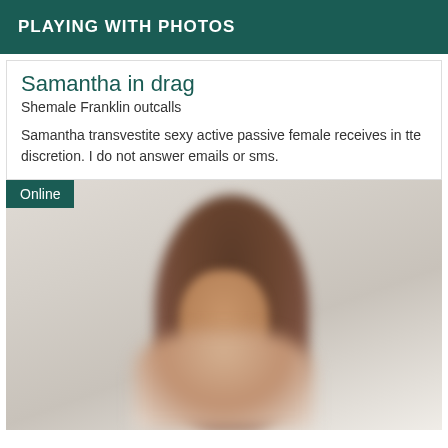PLAYING WITH PHOTOS
Samantha in drag
Shemale Franklin outcalls
Samantha transvestite sexy active passive female receives in tte discretion. I do not answer emails or sms.
[Figure (photo): Blurred photo of a person with long dark brown hair with bangs, facing slightly to the side, smiling, against a light background. An 'Online' badge appears in the top-left corner of the photo.]